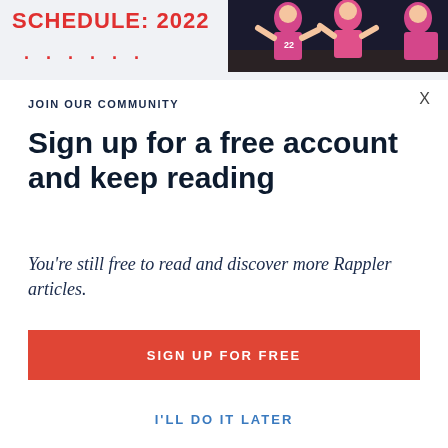SCHEDULE: 2022
[Figure (photo): Basketball players in pink uniforms celebrating or posing on court]
X
JOIN OUR COMMUNITY
Sign up for a free account and keep reading
You're still free to read and discover more Rappler articles.
Why is it important for you to register?
Know here.
SIGN UP FOR FREE
I'LL DO IT LATER